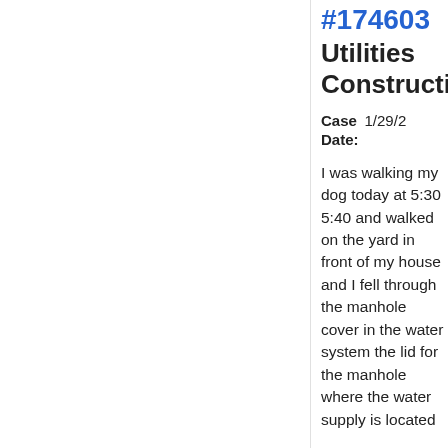#174603 Utilities Construction
Case Date: 1/29/2
I was walking my dog today at 5:30 5:40 and walked on the yard in front of my house and I fell through the manhole cover in the water system the lid for the manhole where the water supply is located